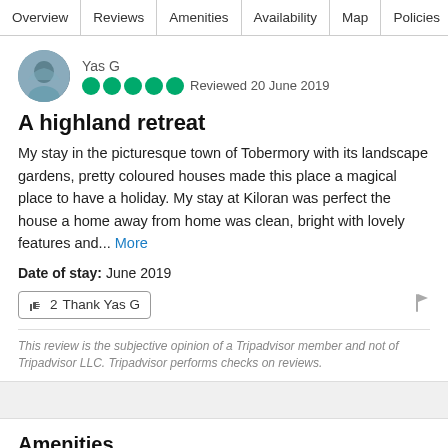Overview | Reviews | Amenities | Availability | Map | Policies
Yas G
Reviewed 20 June 2019
A highland retreat
My stay in the picturesque town of Tobermory with its landscape gardens, pretty coloured houses made this place a magical place to have a holiday. My stay at Kiloran was perfect the house a home away from home was clean, bright with lovely features and... More
Date of stay: June 2019
👍 2  Thank Yas G
This review is the subjective opinion of a Tripadvisor member and not of Tripadvisor LLC. Tripadvisor performs checks on reviews.
Amenities
Pets Allowed: No